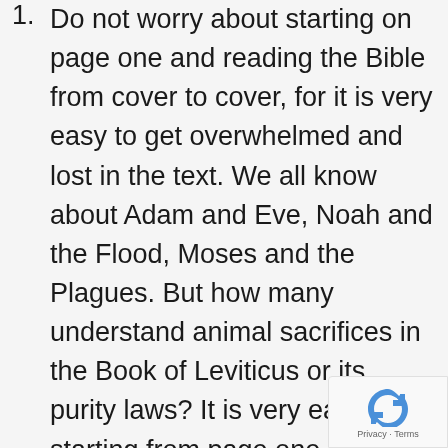Do not worry about starting on page one and reading the Bible from cover to cover, for it is very easy to get overwhelmed and lost in the text. We all know about Adam and Eve, Noah and the Flood, Moses and the Plagues. But how many understand animal sacrifices in the Book of Leviticus or its purity laws? It is very easy, starting from page one and flipping straight through, to lose sight of the story of salvation history. Start from page one if you like, but don't feel like you can't start with whatever book (especially the Gospels) you find yourself most